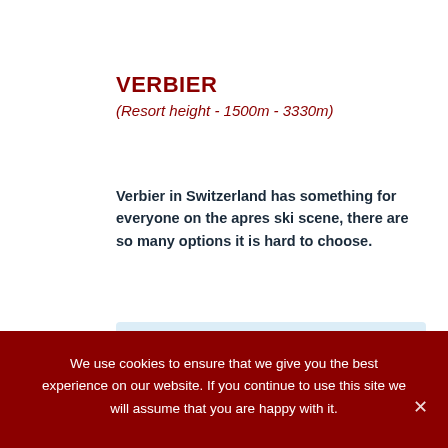VERBIER
(Resort height - 1500m - 3330m)
Verbier in Switzerland has something for everyone on the apres ski scene, there are so many options it is hard to choose.
[Figure (infographic): Light blue box with 'Great for...' header in dark red italic, showing a trophy icon with 'Apres-ski' label beneath]
We use cookies to ensure that we give you the best experience on our website. If you continue to use this site we will assume that you are happy with it.